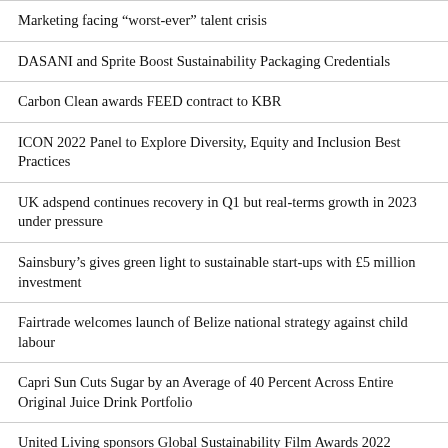Marketing facing “worst-ever” talent crisis
DASANI and Sprite Boost Sustainability Packaging Credentials
Carbon Clean awards FEED contract to KBR
ICON 2022 Panel to Explore Diversity, Equity and Inclusion Best Practices
UK adspend continues recovery in Q1 but real-terms growth in 2023 under pressure
Sainsbury’s gives green light to sustainable start-ups with £5 million investment
Fairtrade welcomes launch of Belize national strategy against child labour
Capri Sun Cuts Sugar by an Average of 40 Percent Across Entire Original Juice Drink Portfolio
United Living sponsors Global Sustainability Film Awards 2022
Fairtrade collaborates with Banana Bruiser artist to celebrate